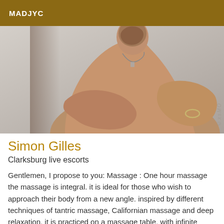MADJYC
[Figure (photo): A shirtless middle-aged man with a necklace and bracelet, looking to the side, photographed from the torso up against a light background. A watermark text appears vertically on the right side.]
Simon Gilles
Clarksburg live escorts
Gentlemen, I propose to you: Massage : One hour massage the massage is integral. it is ideal for those who wish to approach their body from a new angle. inspired by different techniques of tantric massage, Californian massage and deep relaxation, it is practiced on a massage table. with infinite gentleness, the masseur takes you on an inner journey deep inside